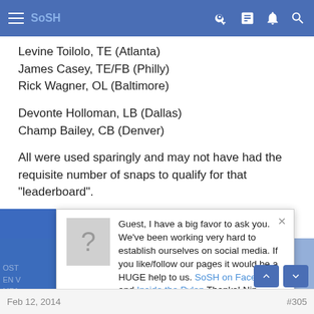SoSH (navigation bar)
Levine Toilolo, TE (Atlanta)
James Casey, TE/FB (Philly)
Rick Wagner, OL (Baltimore)
Devonte Holloman, LB (Dallas)
Champ Bailey, CB (Denver)
All were used sparingly and may not have had the requisite number of snaps to qualify for that "leaderboard".
EDIT: If I used the same methodology as Laddie above, I get a 100.1 total (68 on offense) without ST and 126.5 with ST (and no punter - how much am I deducting for no punter? Because Brady punted once fo
Guest, I have a big favor to ask you. We've been working very hard to establish ourselves on social media. If you like/follow our pages it would be a HUGE help to us. SoSH on Facebook and Inside the Pylon Thanks! Nip
Feb 12, 2014  #305